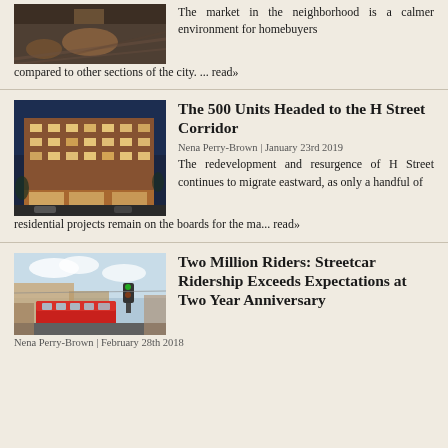[Figure (photo): Interior architectural photo showing a space with wooden tables and striped flooring]
The market in the neighborhood is a calmer environment for homebuyers compared to other sections of the city.  ...  read»
[Figure (photo): Evening exterior rendering of a large modern brick mixed-use building with lit storefronts]
The 500 Units Headed to the H Street Corridor
Nena Perry-Brown | January 23rd 2019
The redevelopment and resurgence of H Street continues to migrate eastward, as only a handful of residential projects remain on the boards for the ma... read»
[Figure (photo): Photo of a red streetcar on a city street with shops and traffic lights]
Two Million Riders: Streetcar Ridership Exceeds Expectations at Two Year Anniversary
Nena Perry-Brown | February 28th 2018